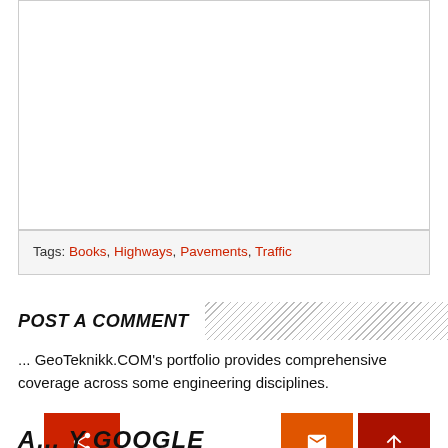[Figure (other): White rectangular image area with border, content not visible]
Tags: Books, Highways, Pavements, Traffic
POST A COMMENT
... GeoTeknikk.COM's portfolio provides comprehensive coverage across some engineering disciplines.
A... Y GOOGLE